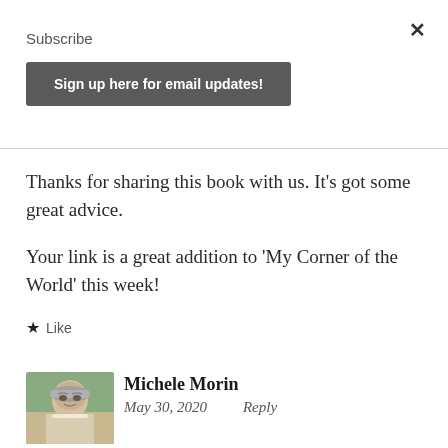Subscribe
Sign up here for email updates!
Thanks for sharing this book with us. It’s got some great advice.
Your link is a great addition to ‘My Corner of the World’ this week!
★ Like
[Figure (photo): Profile photo of Michele Morin, showing a woman with short grey hair and glasses, outdoors with green foliage.]
Michele Morin
May 30, 2020    Reply